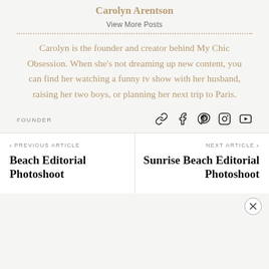Carolyn Arentson
View More Posts
Carolyn is the founder and creator behind My Chic Obsession. When she's not dreaming up new content, you can find her watching a funny tv show with her husband, raising her two boys, or planning her next trip to Paris.
FOUNDER
< PREVIOUS ARTICLE
Beach Editorial Photoshoot
NEXT ARTICLE >
Sunrise Beach Editorial Photoshoot